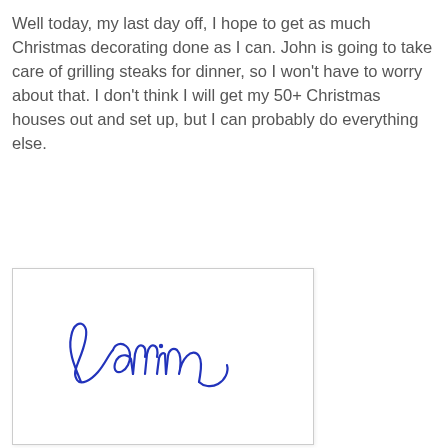Well today, my last day off, I hope to get as much Christmas decorating done as I can.  John is going to take care of grilling steaks for dinner, so I won't have to worry about that.  I don't think I will get my 50+ Christmas houses out and set up, but I can probably do everything else.
[Figure (illustration): Handwritten cursive signature reading 'Karrin' in blue ink, displayed inside a white box with a light border.]